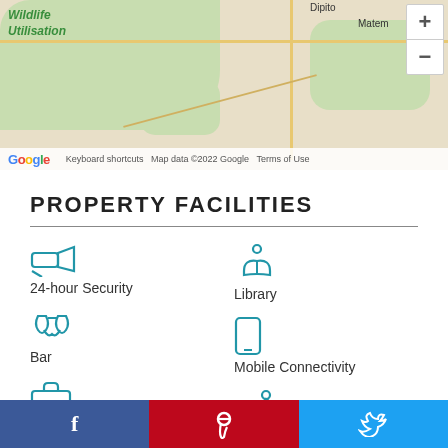[Figure (map): Google Maps partial view showing an area with green regions labeled 'Wildlife Utilisation', place names 'Dipito' and 'Matem', zoom controls, and map attribution.]
PROPERTY FACILITIES
24-hour Security
Bar
Business Centre
Eco Friendly
Library
Mobile Connectivity
Pool
Private Vehicle Available
Facebook | Pinterest | Twitter